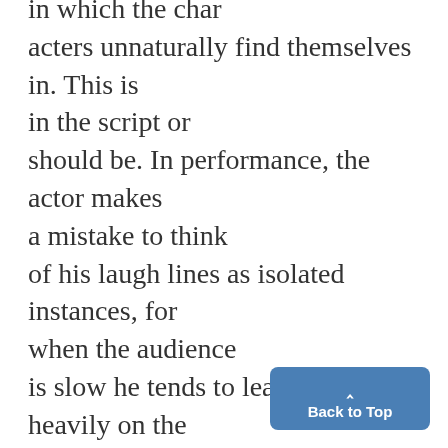in which the characters unnaturally find themselves in. This is in the script or should be. In performance, the actor makes a mistake to think of his laugh lines as isolated instances, for when the audience is slow he tends to lean too heavily on the lines and away from the character which debilitates the humor even further.. This play is somewhat misleading to the amateur, for Burrows has included some lines which are ge...
[Figure (other): Back to Top button — a blue rounded rectangle with an upward caret arrow and the text 'Back to Top']